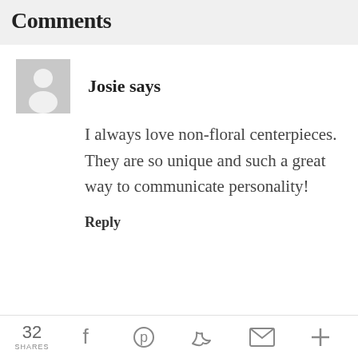Comments
Josie says
I always love non-floral centerpieces. They are so unique and such a great way to communicate personality!
Reply
32 SHARES